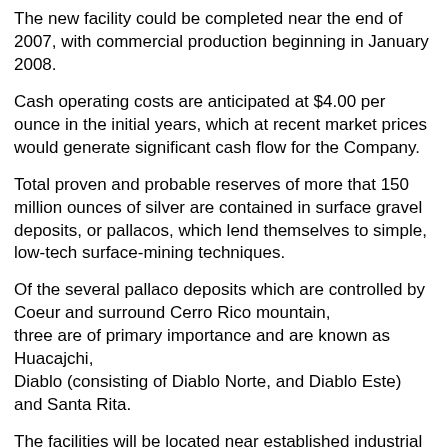The new facility could be completed near the end of 2007, with commercial production beginning in January 2008.
Cash operating costs are anticipated at $4.00 per ounce in the initial years, which at recent market prices would generate significant cash flow for the Company.
Total proven and probable reserves of more that 150 million ounces of silver are contained in surface gravel deposits, or pallacos, which lend themselves to simple, low-tech surface-mining techniques.
Of the several pallaco deposits which are controlled by Coeur and surround Cerro Rico mountain, three are of primary importance and are known as Huacajchi, Diablo (consisting of Diablo Norte, and Diablo Este) and Santa Rita.
The facilities will be located near established industrial infrastructure in the historically silver-rich area of Potosí, Bolivia, where more than two billion ounces of silver have been mined
[Figure (illustration): Small image placeholder icon (green/landscape thumbnail)]